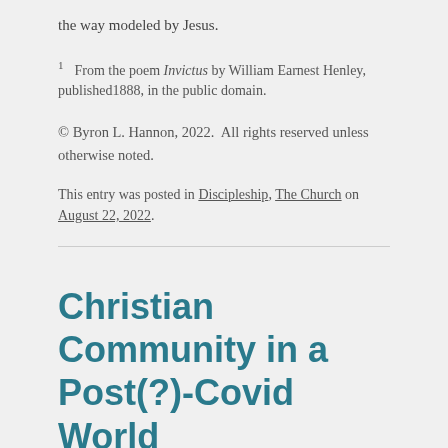the way modeled by Jesus.
1  From the poem Invictus by William Earnest Henley, published1888, in the public domain.
© Byron L. Hannon, 2022.  All rights reserved unless otherwise noted.
This entry was posted in Discipleship, The Church on August 22, 2022.
Christian Community in a Post(?)-Covid World
1 Reply